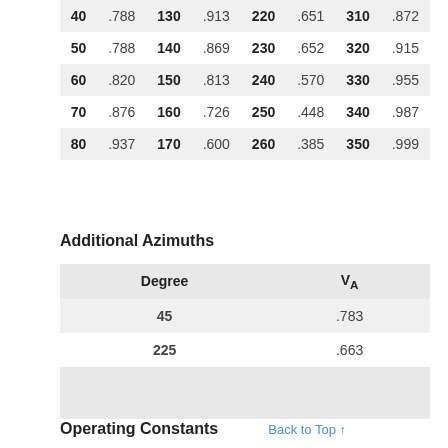| Degree | VA | Degree | VA | Degree | VA | Degree | VA |
| --- | --- | --- | --- | --- | --- | --- | --- |
| 40 | .788 | 130 | .913 | 220 | .651 | 310 | .872 |
| 50 | .788 | 140 | .869 | 230 | .652 | 320 | .915 |
| 60 | .820 | 150 | .813 | 240 | .570 | 330 | .955 |
| 70 | .876 | 160 | .726 | 250 | .448 | 340 | .987 |
| 80 | .937 | 170 | .600 | 260 | .385 | 350 | .999 |
Additional Azimuths
| Degree | VA |
| --- | --- |
| 45 | .783 |
| 225 | .663 |
|  |  |
|  |  |
Operating Constants
Back to Top ↑